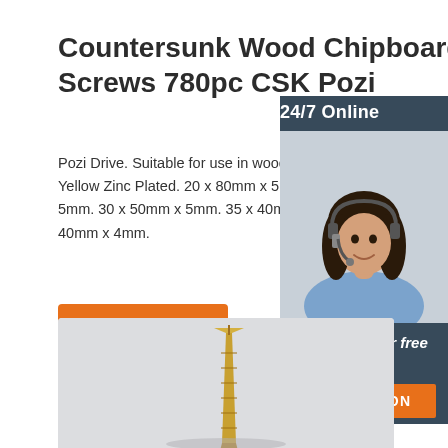Countersunk Wood Chipboard Screws 780pc CSK Pozi
Pozi Drive. Suitable for use in wood and chipboard. Yellow Zinc Plated. 20 x 80mm x 5mm. 25 x 5mm. 30 x 50mm x 5mm. 35 x 40mm x 5mm. 40mm x 4mm.
[Figure (infographic): 24/7 Online chat widget with photo of woman wearing headset, 'Click here for free chat!' text, and orange QUOTATION button]
Get Price
[Figure (photo): Product photo showing gold/brass countersunk wood screws on a light grey background]